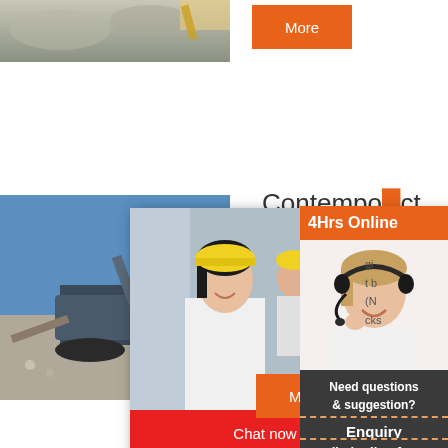[Figure (photo): Aerial/ground view of gravel/stone quarry area, partial view at top of page]
More
[Figure (photo): Construction site with excavator and gravel, left side of page]
Contemp...ct
[Figure (screenshot): Live chat popup overlay with woman in hard hat smiling, and 'LIVE CHAT - Click for a Free Consultation' text, Chat now and Chat later buttons]
[Figure (photo): Customer service agent (woman with headset) photo on right sidebar, with '4Hrs Online' header]
More
Need questions & suggestion?
Chat Now
Enquiry
limingjlmofen